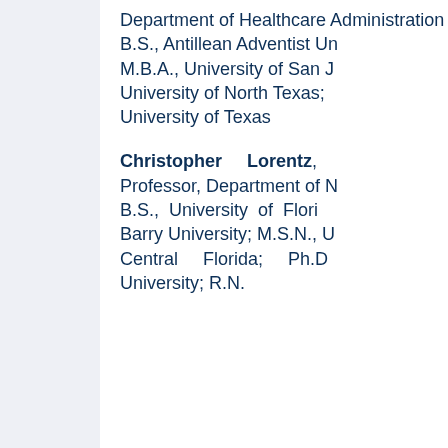Department of Healthcare Administration B.S., Antillean Adventist University; M.B.A., University of San Jose; University of North Texas; University of Texas
Christopher Lorentz, Professor, Department of Nursing; B.S., University of Florida; Barry University; M.S.N., University of Central Florida; Ph.D., University; R.N.